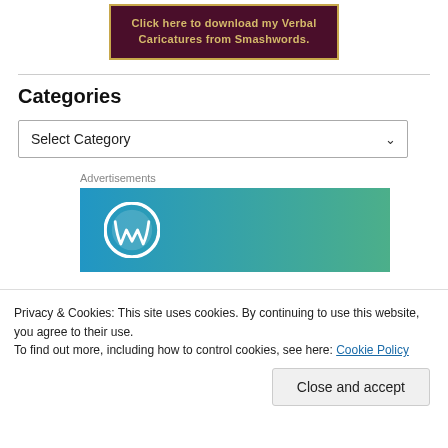[Figure (other): Dark maroon banner with gold border and gold text reading 'Click here to download my Verbal Caricatures from Smashwords.']
Categories
[Figure (screenshot): A dropdown select box labeled 'Select Category' with a dropdown arrow]
Advertisements
[Figure (logo): WordPress logo on a blue to teal gradient background advertisement banner]
Privacy & Cookies: This site uses cookies. By continuing to use this website, you agree to their use.
To find out more, including how to control cookies, see here: Cookie Policy
Close and accept